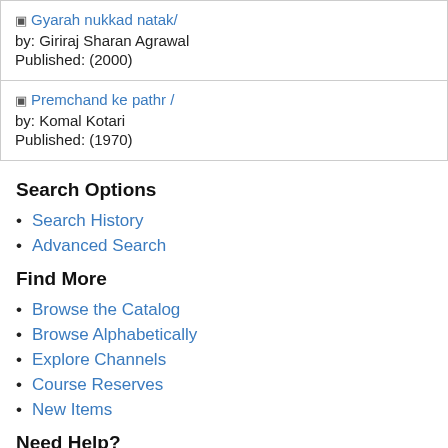Gyarah nukkad natak/ by: Giriraj Sharan Agrawal Published: (2000)
Premchand ke pathr / by: Komal Kotari Published: (1970)
Search Options
Search History
Advanced Search
Find More
Browse the Catalog
Browse Alphabetically
Explore Channels
Course Reserves
New Items
Need Help?